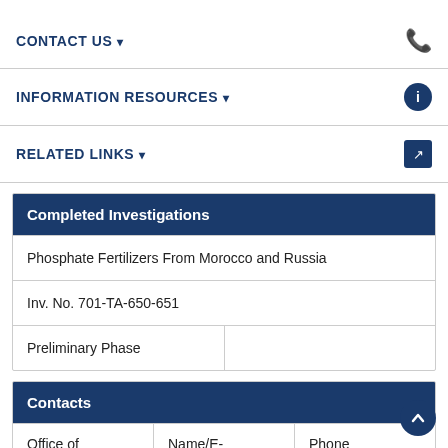CONTACT US
INFORMATION RESOURCES
RELATED LINKS
| Completed Investigations |
| --- |
| Phosphate Fertilizers From Morocco and Russia |
| Inv. No. 701-TA-650-651 |
| Preliminary Phase |  |
| Contacts |
| --- |
| Office of Investigations | Name/E-mail | Phone |